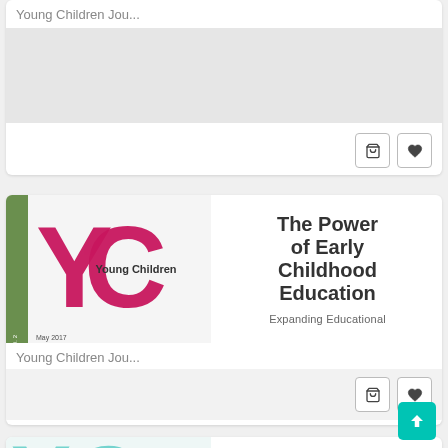Young Children Jou...
[Figure (screenshot): Gray placeholder image area for first card]
Young Children Jou...
[Figure (illustration): Young Children magazine cover featuring large pink YC letters on white background with 'Young Children' text, plus title text 'The Power of Early Childhood Education' and subtitle 'Expanding Educational']
[Figure (illustration): Third card partially visible: Young Children magazine teal YC cover with issue number 68 and red text 'Life and Death in Nature']